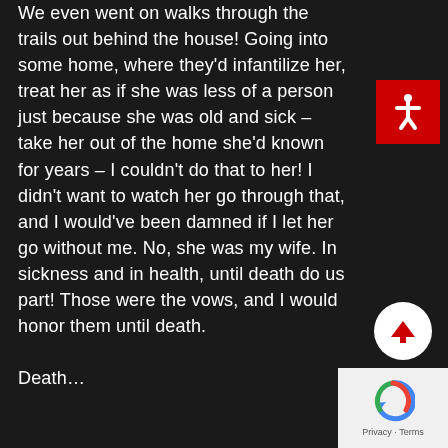We even went on walks through the trails out behind the house!  Going into some home, where they'd infantilize her, treat her as if she was less of a person just because she was old and sick – take her out of the home she'd known for years – I couldn't do that to her!  I didn't want to watch her go through that, and I would've been damned if I let her go without me.  No, she was my wife.  In sickness and in health, until death do us part!  Those were the vows, and I would honor them until death.

Death…
[Figure (other): Red accessibility icon button with white figure]
[Figure (other): White circular scroll-to-top button with red upward arrow]
[Figure (other): Google reCAPTCHA widget with Privacy and Terms text]